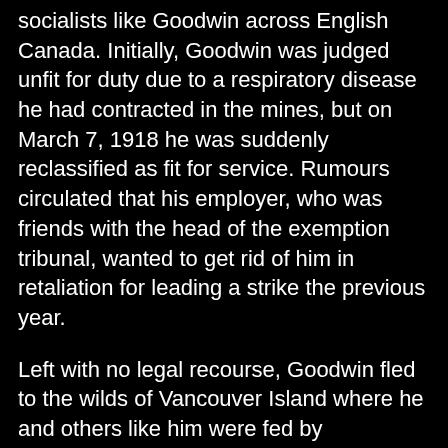socialists like Goodwin across English Canada. Initially, Goodwin was judged unfit for duty due to a respiratory disease he had contracted in the mines, but on March 7, 1918 he was suddenly reclassified as fit for service. Rumours circulated that his employer, who was friends with the head of the exemption tribunal, wanted to get rid of him in retaliation for leading a strike the previous year.
Left with no legal recourse, Goodwin fled to the wilds of Vancouver Island where he and others like him were fed by sympathetic locals and hunted by the police. It was there that he was killed on July 27 by Dan Campbell, a disgraced BC Provincial Police officer fired for extortion. Campbell would later claim Goodwin pointed a gun at him and that he shot in self-defence, but according to Goodwin biographer Susan Mayse the position of the gunshot wounds suggest that Goodwin was shot from the side, causing the bullet to ricochet off his wrist and